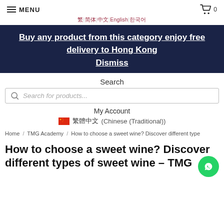MENU
繁|简体|中文|English|한국어
Buy any product from this category enjoy free delivery to Hong Kong Dismiss
Search
Search for products...
My Account
繁體中文 (Chinese (Traditional))
Home / TMG Academy / How to choose a sweet wine? Discover different type
How to choose a sweet wine? Discover different types of sweet wine – TMG